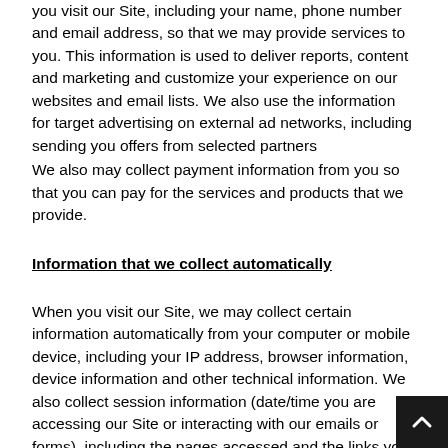you visit our Site, including your name, phone number and email address, so that we may provide services to you. This information is used to deliver reports, content and marketing and customize your experience on our websites and email lists. We also use the information for target advertising on external ad networks, including sending you offers from selected partners
We also may collect payment information from you so that you can pay for the services and products that we provide.
Information that we collect automatically
When you visit our Site, we may collect certain information automatically from your computer or mobile device, including your IP address, browser information, device information and other technical information. We also collect session information (date/time you are accessing our Site or interacting with our emails or forms), including the pages accessed and the links you clicked. This information is collected and maintained using cookies and similar technology (see discussion of Cookies below).